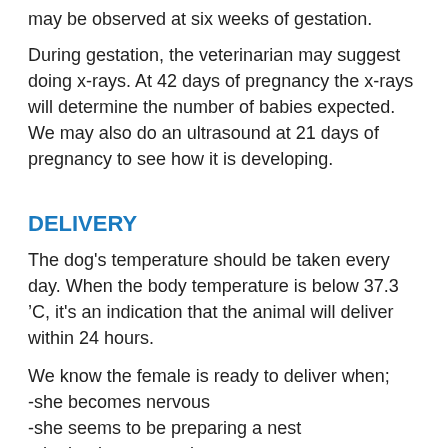may be observed at six weeks of gestation.
During gestation, the veterinarian may suggest doing x-rays. At 42 days of pregnancy the x-rays will determine the number of babies expected. We may also do an ultrasound at 21 days of pregnancy to see how it is developing.
DELIVERY
The dog's temperature should be taken every day. When the body temperature is below 37.3 ’C, it's an indication that the animal will deliver within 24 hours.
We know the female is ready to deliver when;
-she becomes nervous
-she seems to be preparing a nest
-she begins contractions
-her body temperature is below 37.3’C
The first baby will appear 1 to 2 hours after beginning...